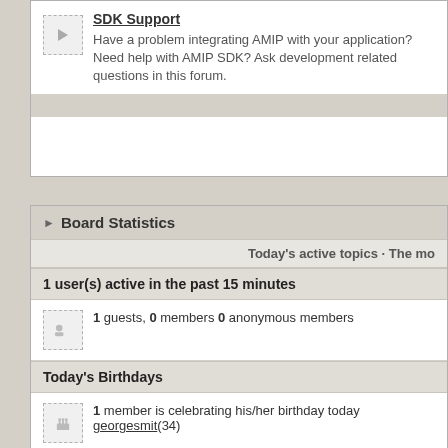SDK Support
Have a problem integrating AMIP with your application? Need help with AMIP SDK? Ask development related questions in this forum.
Board Statistics
Today's active topics · The mo
1 user(s) active in the past 15 minutes
1 guests, 0 members 0 anonymous members
Today's Birthdays
1 member is celebrating his/her birthday today
georgesmit(34)
Board Statistics
Our members have made a total of 2,405 posts
We have 1,702 registered members
The newest member is Radstorm
Most users ever online was 930 on Aug 23 2021, 02:12 PM